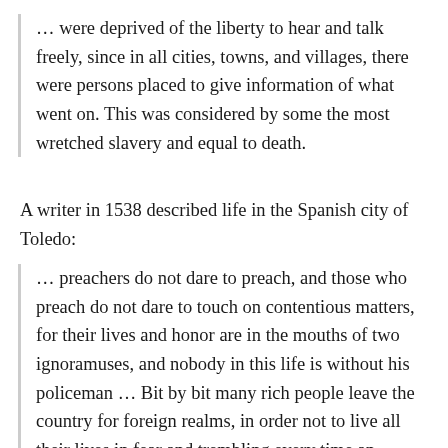… were deprived of the liberty to hear and talk freely, since in all cities, towns, and villages, there were persons placed to give information of what went on. This was considered by some the most wretched slavery and equal to death.
A writer in 1538 described life in the Spanish city of Toledo:
… preachers do not dare to preach, and those who preach do not dare to touch on contentious matters, for their lives and honor are in the mouths of two ignoramuses, and nobody in this life is without his policeman … Bit by bit many rich people leave the country for foreign realms, in order not to live all their lives in fear and trembling every time an officer